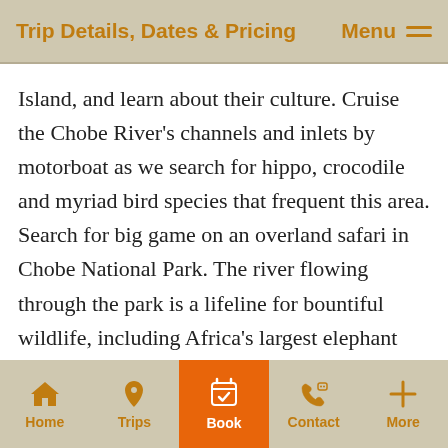Trip Details, Dates & Pricing — Menu
Island, and learn about their culture. Cruise the Chobe River's channels and inlets by motorboat as we search for hippo, crocodile and myriad bird species that frequent this area. Search for big game on an overland safari in Chobe National Park. The river flowing through the park is a lifeline for bountiful wildlife, including Africa's largest elephant population—as many as 70,000 of Botswana's 130,000 elephants live within the park bounds. We also seek out buffalo, lion, leopard and more on exhilarating safari drives. Return in the evenings to our comfortable island
Home | Trips | Book | Contact | More